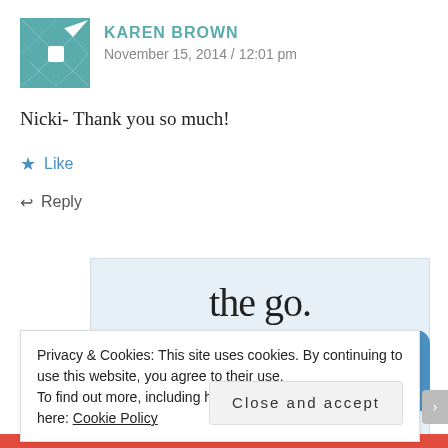KAREN BROWN
November 15, 2014 / 12:01 pm
Nicki- Thank you so much!
★ Like
↩ Reply
[Figure (screenshot): WordPress app advertisement banner showing 'the go.' text and 'GET THE APP' link with WordPress logo]
Privacy & Cookies: This site uses cookies. By continuing to use this website, you agree to their use.
To find out more, including how to control cookies, see here: Cookie Policy
Close and accept